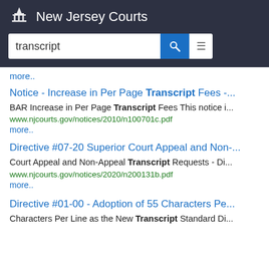New Jersey Courts
more..
Notice - Increase in Per Page Transcript Fees -...
BAR Increase in Per Page Transcript Fees This notice i...
www.njcourts.gov/notices/2010/n100701c.pdf
more..
Directive #07-20 Superior Court Appeal and Non-...
Court Appeal and Non-Appeal Transcript Requests - Di...
www.njcourts.gov/notices/2020/n200131b.pdf
more..
Directive #01-00 - Adoption of 55 Characters Pe...
Characters Per Line as the New Transcript Standard Di...